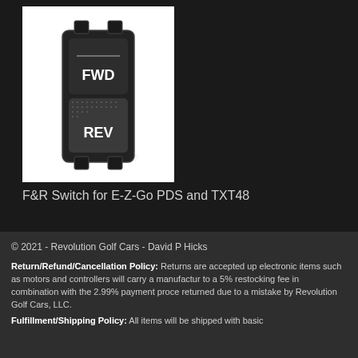[Figure (photo): A forward/reverse (F&R) switch for E-Z-Go PDS and TXT48 golf cart. The switch is black with two labels: 'FWD' on the upper portion and 'REV' on the lower textured portion.]
F&R Switch for E-Z-Go PDS and TXT48
© 2021 - Revolution Golf Cars - David P Hicks
Return/Refund/Cancellation Policy: Returns are accepted up electronic items such as motors and controllers will carry a manufactur to a 5% restocking fee in combination with the 2.99% payment proce returned due to a mistake by Revolution Golf Cars, LLC.
Fulfillment/Shipping Policy: All items will be shipped with basic